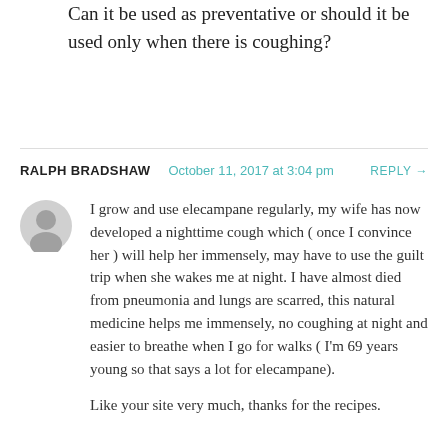Can it be used as preventative or should it be used only when there is coughing?
RALPH BRADSHAW  October 11, 2017 at 3:04 pm  REPLY →
I grow and use elecampane regularly, my wife has now developed a nighttime cough which ( once I convince her ) will help her immensely, may have to use the guilt trip when she wakes me at night. I have almost died from pneumonia and lungs are scarred, this natural medicine helps me immensely, no coughing at night and easier to breathe when I go for walks ( I'm 69 years young so that says a lot for elecampane).
Like your site very much, thanks for the recipes.